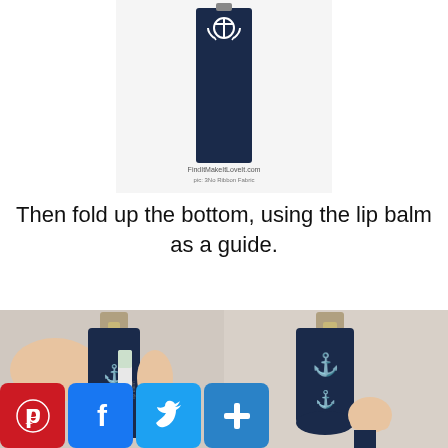[Figure (photo): A folded navy blue fabric strip with white anchor print, shown from the front on a white background. Text overlay reads 'FindItMakeItLoveIt.com pic: 3No Ribbon Fabric'.]
Then fold up the bottom, using the lip balm as a guide.
[Figure (photo): Two side-by-side photos showing hands folding navy anchor-print fabric around a lip balm tube with a metal clip at top. Left photo shows the lip balm inserted; right photo shows the folded fabric holder complete.]
[Figure (infographic): Social sharing buttons: Pinterest (red), Facebook (blue), Twitter (blue), AddThis (blue plus sign).]